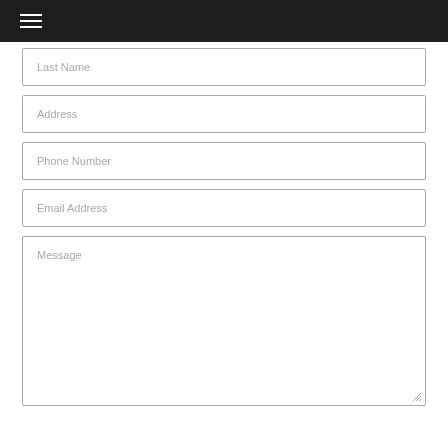[Figure (other): Dark navigation bar with hamburger menu icon]
Last Name
Address
Phone Number
Email Address
Message